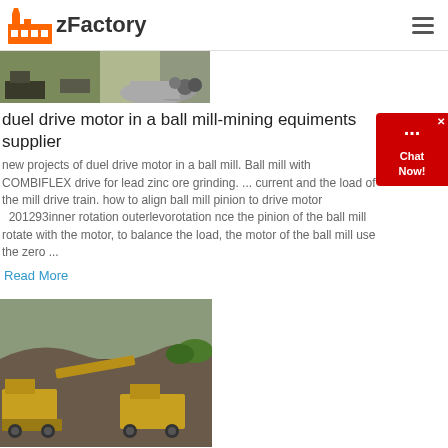zFactory
[Figure (photo): Mining/quarry scene with machinery and stone piles, banner image]
duel drive motor in a ball mill-mining equiments supplier
new projects of duel drive motor in a ball mill. Ball mill with COMBIFLEX drive for lead zinc ore grinding. ... current and the load of the mill drive train. how to align ball mill pinion to drive motor   201293inner rotation outerlevorotation nce the pinion of the ball mill rotate with the motor, to balance the load, the motor of the ball mill use the zero ...
Read More
[Figure (photo): Industrial mining machinery/crusher working in a quarry with yellow equipment]
Industrial gear unit drive solution for ball mills SEW ...
Flexible drive solutions for use in ball mills A ball mill is a horizontal cylinder filled with steel balls or the like. This cylinder rotates around its axis and transmits the rotating effect to the balls. The material fed ...